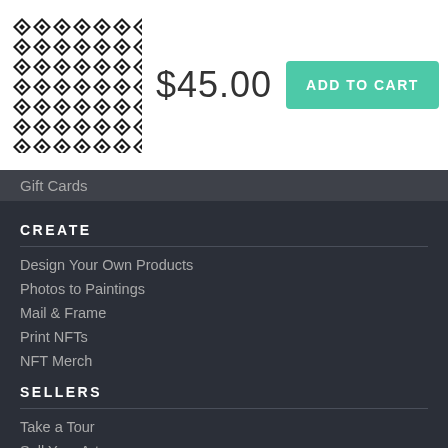[Figure (illustration): Black and white geometric diamond/zigzag pattern thumbnail image for a product]
$45.00
ADD TO CART
Gift Cards
CREATE
Design Your Own Products
Photos to Paintings
Mail & Frame
Print NFTs
NFT Merch
SELLERS
Take a Tour
Sell Your Art
Membership Plans
Mobile App (iOS and Android)
Shopify App
Instagram Merchandise